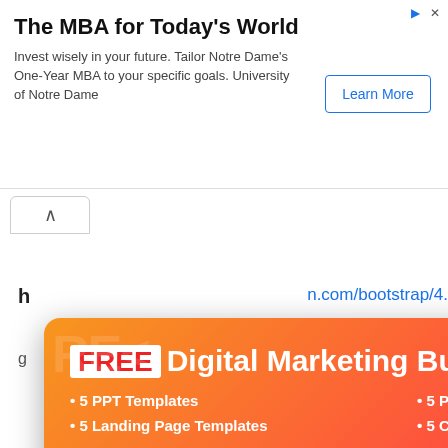The MBA for Today's World
Invest wisely in your future. Tailor Notre Dame's One-Year MBA to your specific goals. University of Notre Dame
[Figure (screenshot): Ad banner with Learn More button for Notre Dame MBA]
n.com/bootstrap/4.
fQ784/j6cY/iJTQUO
cro
[Figure (infographic): Popup modal advertising FREE Digital Marketing Bundle with 5 PPT Templates, 5 PSD Templates, 5 Landing Page Templates, 5 Corporate Identity Templates. Enter your email to download the bundle. Email input and Get Bundle button.]
<ti